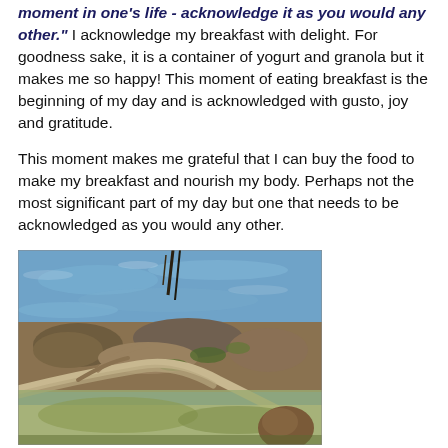moment in one's life - acknowledge it as you would any other. I acknowledge my breakfast with delight. For goodness sake, it is a container of yogurt and granola but it makes me so happy! This moment of eating breakfast is the beginning of my day and is acknowledged with gusto, joy and gratitude.
This moment makes me grateful that I can buy the food to make my breakfast and nourish my body. Perhaps not the most significant part of my day but one that needs to be acknowledged as you would any other.
[Figure (photo): Outdoor waterside scene showing rocks, driftwood, and shallow water with blue ripples and natural debris along the shoreline.]